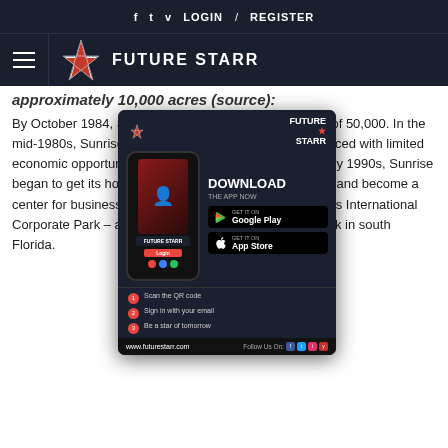f  t  v  LOGIN / REGISTER
[Figure (logo): Future Starr logo with hamburger menu on dark navy background]
approximately 10,000 acres (source):
By October 1984, Sunrise had an estimated population of 50,000. In the mid-1980s, Sunrise faced challenges, as the City was faced with limited economic opportunities and limited amenities. In the early 1990s, Sunrise began to get its house in order, rebuild its infrastructure, and become a center for business headquarters by developing Business International Corporate Park – at 612 acres, the largest corporate park in south Florida.
[Figure (screenshot): Future Starr app advertisement popup with phone mockup, download CTA, Google Play and App Store buttons, QR code steps, and website URL www.futurestarr.com]
Thanks in large part to these shopping and entertainment destinations, Sunrise has become one of Florida's top tourist draws. Its location at the center of Miami-Dade, Broward and Palm Beach counties – in close proximity to the Florida Turnpike and I-95, and bordered by the Sawgrass Expressway –